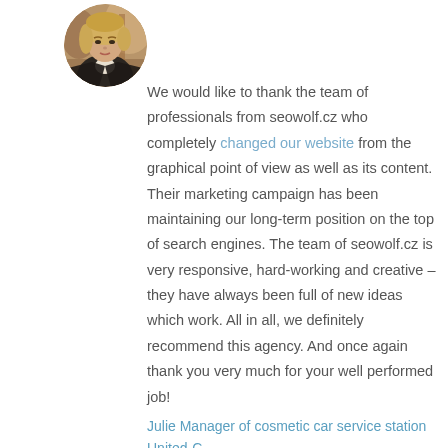[Figure (photo): Circular avatar photo of a blonde woman in a dark jacket, shown from shoulders up, in a restaurant or café setting.]
We would like to thank the team of professionals from seowolf.cz who completely changed our website from the graphical point of view as well as its content. Their marketing campaign has been maintaining our long-term position on the top of search engines. The team of seowolf.cz is very responsive, hard-working and creative – they have always been full of new ideas which work. All in all, we definitely recommend this agency. And once again thank you very much for your well performed job!
Julie Manager of cosmetic car service station United-C